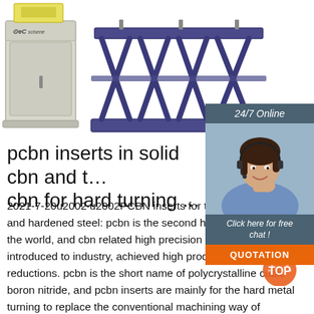[Figure (photo): Gray industrial cabinet machine with eC logo on the left side]
[Figure (photo): Blue scissor lift / hydraulic lift platform in raised position]
[Figure (photo): Customer service widget: dark header '24/7 Online', woman with headset smiling, 'Click here for free chat!' button, orange QUOTATION button]
pcbn inserts in solid cbn and tipped cbn for hard turning ...
2021-7-20u2002·u2002PCBN inserts for turning cast iron and hardened steel: pcbn is the second hardest material in the world, and cbn related high precision cutting tools are introduced to industry, achieved high productivity and cost reductions. pcbn is the short name of polycrystalline cubic boron nitride, and pcbn inserts are mainly for the hard metal turning to replace the conventional machining way of grinding.
[Figure (logo): Orange TOP badge/button in bottom right corner]